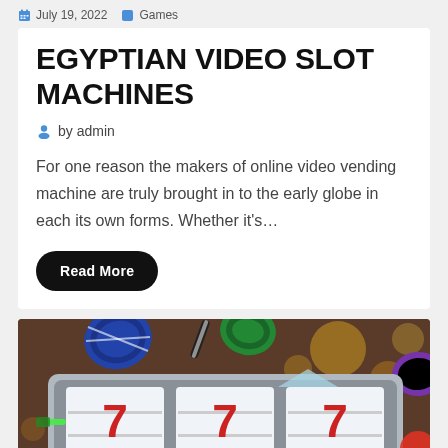July 19, 2022  Games
EGYPTIAN VIDEO SLOT MACHINES
by admin
For one reason the makers of online video vending machine are truly brought in to the early globe in each its own forms. Whether it's…
Read More
[Figure (photo): Slot machine showing three 7s on reels, surrounded by casino chips and bokeh lights on a brown background]